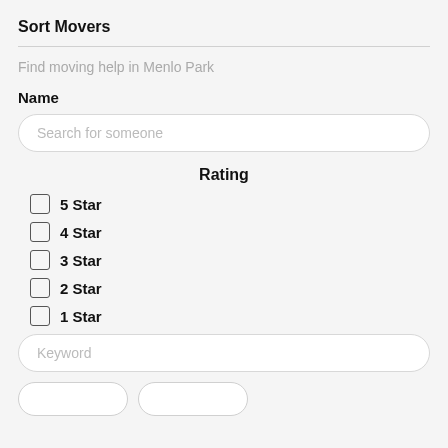Sort Movers
Find moving help in Menlo Park
Name
Search for someone
Rating
5 Star
4 Star
3 Star
2 Star
1 Star
Keyword